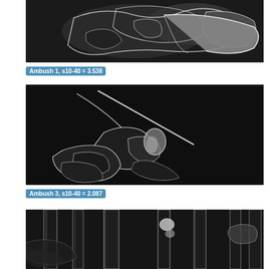[Figure (photo): Grayscale image with white edge-highlighted silhouettes of two figures in close contact, dark background with fluid motion-like artifacts. Labeled Ambush 1.]
Ambush 1, s10-40 = 3.538
[Figure (photo): Grayscale image with white edge contours showing a figure with bow and arrow, dark background, stylized optical flow or depth visualization. Labeled Ambush 3.]
Ambush 3, s10-40 = 2.087
[Figure (photo): Grayscale image showing vertical structures resembling bamboo or poles with white highlighted edges, partially visible bottom portion of the page.]